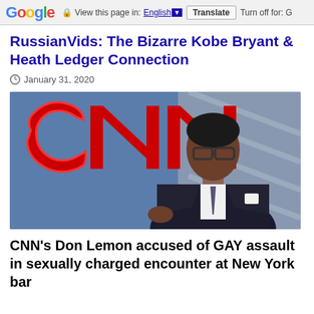Google  View this page in: English [▼]  Translate  Turn off for: G
RussianVids: The Bizarre Kobe Bryant & Heath Ledger Connection
January 31, 2020
[Figure (photo): CNN anchor Don Lemon in a suit speaking at a CNN set, with the large red CNN logo visible in the background]
CNN's Don Lemon accused of GAY assault in sexually charged encounter at New York bar